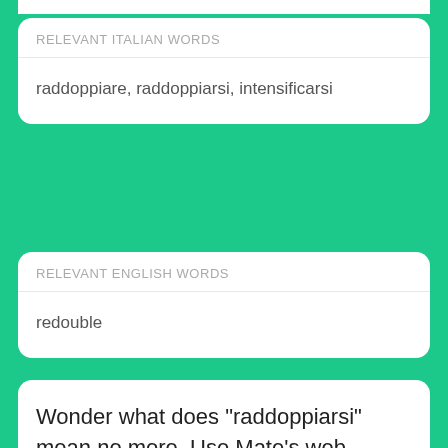RELEVANT ITALIAN WORDS
raddoppiare, raddoppiarsi, intensificarsi
RELEVANT ENGLISH WORDS
redouble
Wonder what does "raddoppiarsi" mean no more. Use Mate's web translator to take a peek at our